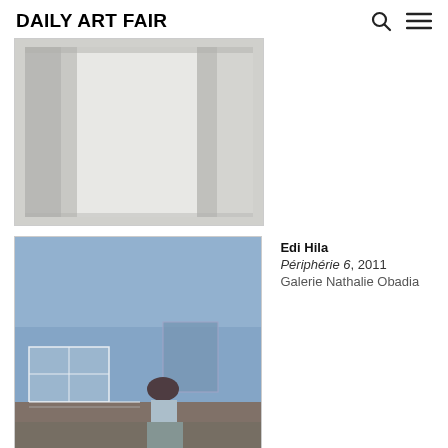Daily Art Fair
[Figure (photo): Abstract painting with pale grey and white tones, showing rectangular geometric forms on canvas]
[Figure (photo): Painting by Edi Hila titled Périphérie 6, 2011, showing a blue building exterior with a figure in the foreground]
Edi Hila
Périphérie 6, 2011
Galerie Nathalie Obadia